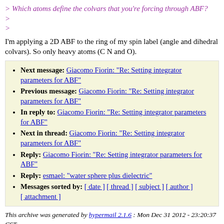> Which atoms define the colvars that you're forcing through ABF?
>
>
I'm applying a 2D ABF to the ring of my spin label (angle and dihedral
colvars). So only heavy atoms (C N and O).
Next message: Giacomo Fiorin: "Re: Setting integrator parameters for ABF"
Previous message: Giacomo Fiorin: "Re: Setting integrator parameters for ABF"
In reply to: Giacomo Fiorin: "Re: Setting integrator parameters for ABF"
Next in thread: Giacomo Fiorin: "Re: Setting integrator parameters for ABF"
Reply: Giacomo Fiorin: "Re: Setting integrator parameters for ABF"
Reply: esmael: "water sphere plus dielectric"
Messages sorted by: [ date ] [ thread ] [ subject ] [ author ] [ attachment ]
This archive was generated by hypermail 2.1.6 : Mon Dec 31 2012 - 23:20:37 CST